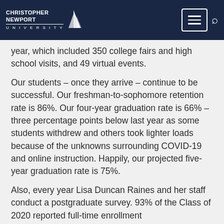Christopher Newport University
year, which included 350 college fairs and high school visits, and 49 virtual events.
Our students – once they arrive – continue to be successful. Our freshman-to-sophomore retention rate is 86%. Our four-year graduation rate is 66% – three percentage points below last year as some students withdrew and others took lighter loads because of the unknowns surrounding COVID-19 and online instruction. Happily, our projected five-year graduation rate is 75%.
Also, every year Lisa Duncan Raines and her staff conduct a postgraduate survey. 93% of the Class of 2020 reported full-time enrollment